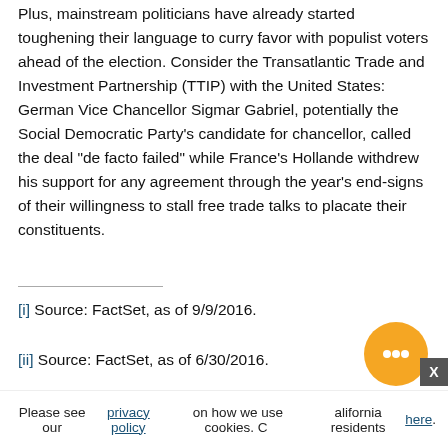Plus, mainstream politicians have already started toughening their language to curry favor with populist voters ahead of the election. Consider the Transatlantic Trade and Investment Partnership (TTIP) with the United States: German Vice Chancellor Sigmar Gabriel, potentially the Social Democratic Party's candidate for chancellor, called the deal "de facto failed" while France's Hollande withdrew his support for any agreement through the year's end-signs of their willingness to stall free trade talks to placate their constituents.
[i] Source: FactSet, as of 9/9/2016.
[ii] Source: FactSet, as of 6/30/2016.
Please see our privacy policy on how we use cookies. California residents here.